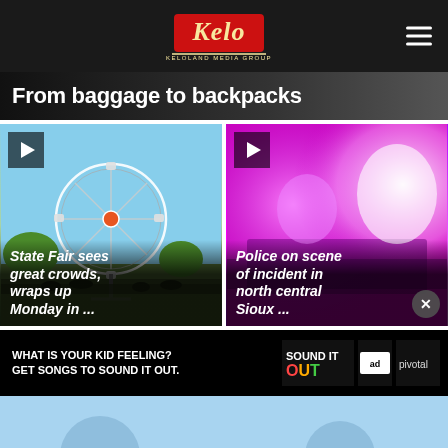Kelo - Keloland Media Group
From baggage to backpacks
[Figure (photo): Video thumbnail of a ferris wheel at a state fair with blue sky and fair grounds]
State Fair sees great crowds, wraps up Monday in ...
[Figure (photo): Video thumbnail of police vehicle with flashing pink/purple/magenta lights at night]
Police on scene of incident in north central Sioux ...
[Figure (other): Advertisement banner: WHAT IS YOUR KID FEELING? GET SONGS TO SOUND IT OUT. Sound It Out ad council pivotal]